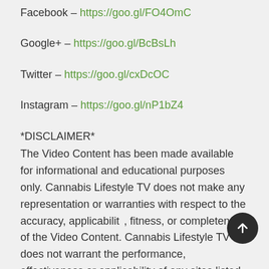Facebook – https://goo.gl/FO4OmC
Google+ – https://goo.gl/BcBsLh
Twitter – https://goo.gl/cxDcOC
Instagram – https://goo.gl/nP1bZ4
*DISCLAIMER*
The Video Content has been made available for informational and educational purposes only. Cannabis Lifestyle TV does not make any representation or warranties with respect to the accuracy, applicability, fitness, or completeness of the Video Content. Cannabis Lifestyle TV does not warrant the performance, effectiveness or applicability of any sites listed or linked to